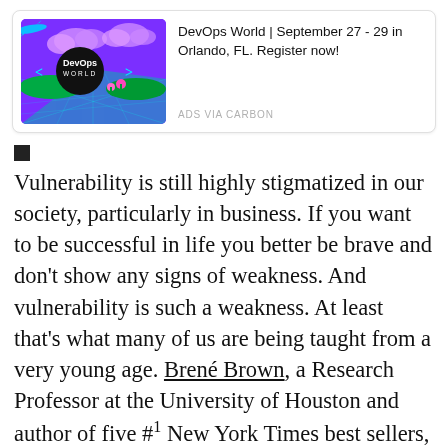[Figure (infographic): DevOps World advertisement banner with purple background showing a futuristic landscape with an airplane, clouds, and the DevOps World logo]
DevOps World | September 27 - 29 in Orlando, FL. Register now!
ADS VIA CARBON
■
Vulnerability is still highly stigmatized in our society, particularly in business. If you want to be successful in life you better be brave and don't show any signs of weakness. And vulnerability is such a weakness. At least that's what many of us are being taught from a very young age. Brené Brown, a Research Professor at the University of Houston and author of five #1 New York Times best sellers, has been studying vulnerability for years. Her TED talk “The Power of Vulnerability”